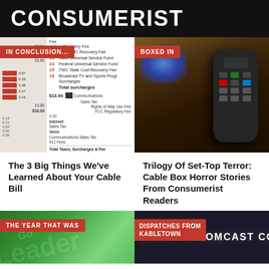CONSUMERIST
[Figure (photo): Cable bill document showing itemized surcharges and fees with red highlighted numbers 12-16 listing TWC fees, state universal service fund, federal universal service fund, broadcast TV surcharges, and total surcharges with communications sales tax, internet sales tax, and voice fees. Label reads IN CONCLUSION...]
[Figure (photo): Close-up photo of a TV remote control resting on a surface with a blurred TV screen glowing blue in the background. Label reads BOXED IN]
The 3 Big Things We’ve Learned About Your Cable Bill
Trilogy Of Set-Top Terror: Cable Box Horror Stories From Consumerist Readers
[Figure (photo): Close-up of green Monopoly game pieces and board. Label reads THE YEAR THAT WAS]
[Figure (photo): Comcast COME TO COMCAST CO sign in dark background. Label reads DISPATCHES FROM KABLETOWN]